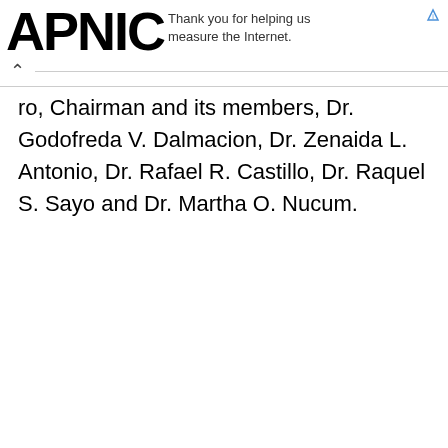APNIC — Thank you for helping us measure the Internet.
ro, Chairman and its members, Dr. Godofreda V. Dalmacion, Dr. Zenaida L. Antonio, Dr. Rafael R. Castillo, Dr. Raquel S. Sayo and Dr. Martha O. Nucum.